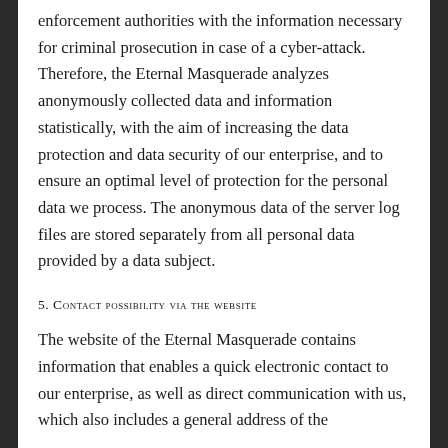enforcement authorities with the information necessary for criminal prosecution in case of a cyber-attack. Therefore, the Eternal Masquerade analyzes anonymously collected data and information statistically, with the aim of increasing the data protection and data security of our enterprise, and to ensure an optimal level of protection for the personal data we process. The anonymous data of the server log files are stored separately from all personal data provided by a data subject.
5. Contact possibility via the website
The website of the Eternal Masquerade contains information that enables a quick electronic contact to our enterprise, as well as direct communication with us, which also includes a general address of the